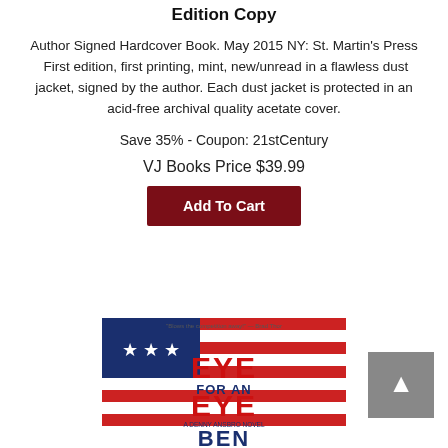Edition Copy
Author Signed Hardcover Book. May 2015 NY: St. Martin's Press  First edition, first printing, mint, new/unread in a flawless dust jacket, signed by the author. Each dust jacket is protected in an acid-free archival quality acetate cover.
Save 35% - Coupon: 21stCentury
VJ Books Price $39.99
Add To Cart
[Figure (photo): Book cover of 'Eye for an Eye' - A Denny Ansbro Novel by Ben, showing patriotic red, white, and blue design with an American flag motif. Title text reads EYE FOR AN EYE in large red letters, with BEN at the bottom.]